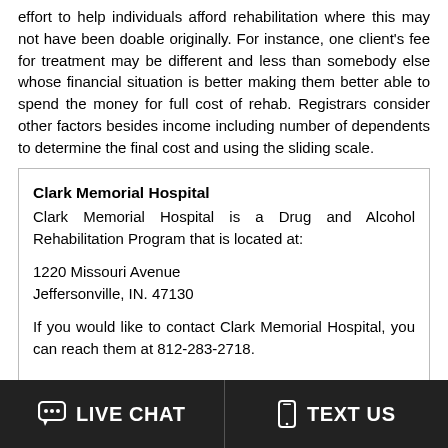effort to help individuals afford rehabilitation where this may not have been doable originally. For instance, one client's fee for treatment may be different and less than somebody else whose financial situation is better making them better able to spend the money for full cost of rehab. Registrars consider other factors besides income including number of dependents to determine the final cost and using the sliding scale.
Clark Memorial Hospital
Clark Memorial Hospital is a Drug and Alcohol Rehabilitation Program that is located at:

1220 Missouri Avenue
Jeffersonville, IN. 47130

If you would like to contact Clark Memorial Hospital, you can reach them at 812-283-2718.

Clark Memorial Hospital offers the following treatment services: Hospital Inpatient, Outpatient, Asl Or Other Assistance For Hearing Impaired
Payment forms accepted: Self Payment, Medicaid, Medicare, Private Health Insurance, Military Insurance (E.G., Va, Tricare),
LIVE CHAT   TEXT US